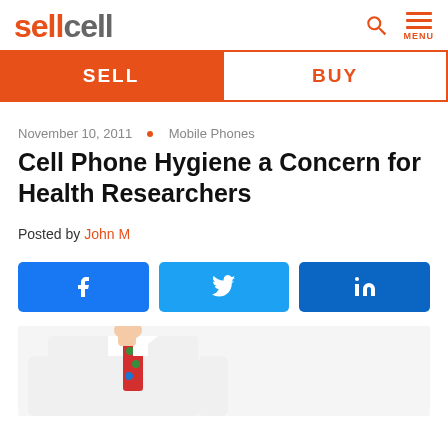sellcell
SELL | BUY
November 10, 2011 • Mobile Phones
Cell Phone Hygiene a Concern for Health Researchers
Posted by John M
[Figure (other): Social share buttons: Facebook, Twitter, LinkedIn]
[Figure (photo): Partial photo of a person in a white coat with a colorful tie, suggesting a health researcher or doctor]